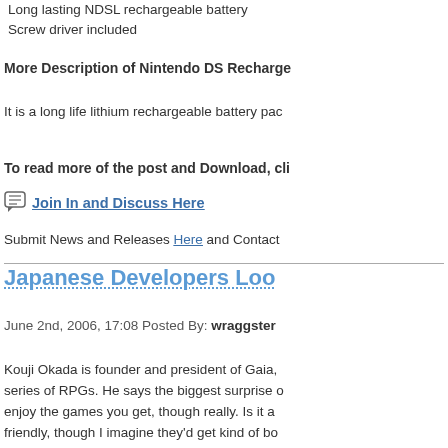Long lasting NDSL rechargeable battery
Screw driver included
More Description of Nintendo DS Recharge
It is a long life lithium rechargeable battery pac
To read more of the post and Download, cli
Join In and Discuss Here
Submit News and Releases Here and Contact
Japanese Developers Loo
June 2nd, 2006, 17:08 Posted By: wraggster
Kouji Okada is founder and president of Gaia, series of RPGs. He says the biggest surprise enjoy the games you get, though really. Is it a friendly, though I imagine they'd get kind of bo
Noritaka Funamizu, executive director of Craft Maybe he knows something we don't about ho His final comment is that "Final Fantasy XIII lo
Tecmo's inimitable Tomonobu Itagaki says thi controller to its true shape. It takes great brave